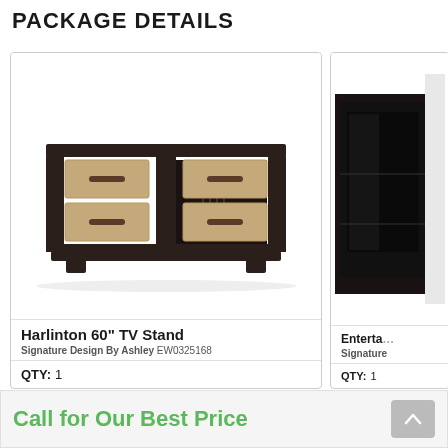PACKAGE DETAILS
[Figure (photo): Photo of Harlinton 60-inch TV Stand — dark espresso frame with four light wood-tone drawers and center open shelf]
Harlinton 60" TV Stand
Signature Design By Ashley EW0325168
QTY:  1
[Figure (photo): Partial photo of an entertainment fireplace insert, dark/black finish, partially cropped on the right side]
Enterta
Signature
QTY:  1
Call for Our Best Price